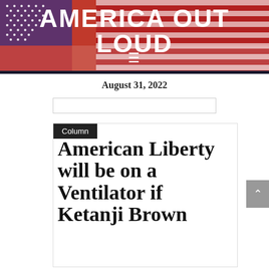[Figure (logo): America Out Loud website header banner with red background, white text logo, and American flag graphic]
August 31, 2022
Column
American Liberty will be on a Ventilator if Ketanji Brown